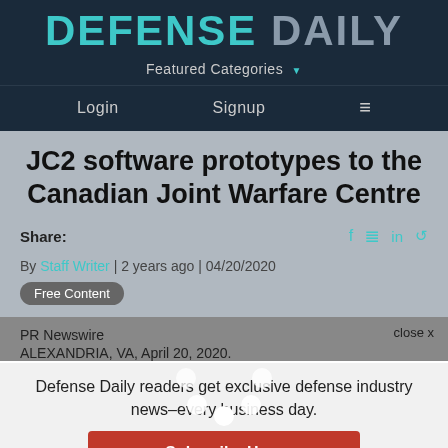DEFENSE DAILY
Featured Categories
Login    Signup    ≡
JC2 software prototypes to the Canadian Joint Warfare Centre
Share:
By Staff Writer | 2 years ago | 04/20/2020
Free Content
close x
PR Newswire
Defense Daily readers get exclusive defense industry news–every business day.
Subscribe Here
ALEXANDRIA, VA, April 20, 2020...